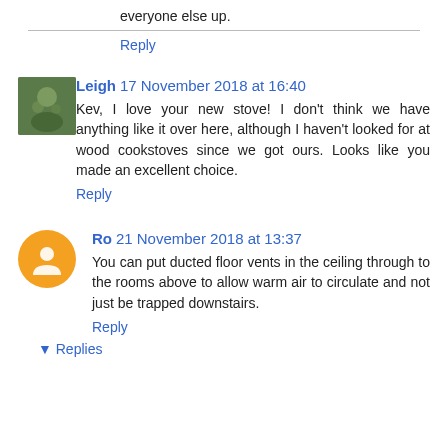everyone else up.
Reply
Leigh  17 November 2018 at 16:40
Kev, I love your new stove! I don't think we have anything like it over here, although I haven't looked for at wood cookstoves since we got ours. Looks like you made an excellent choice.
Reply
Ro  21 November 2018 at 13:37
You can put ducted floor vents in the ceiling through to the rooms above to allow warm air to circulate and not just be trapped downstairs.
Reply
Replies